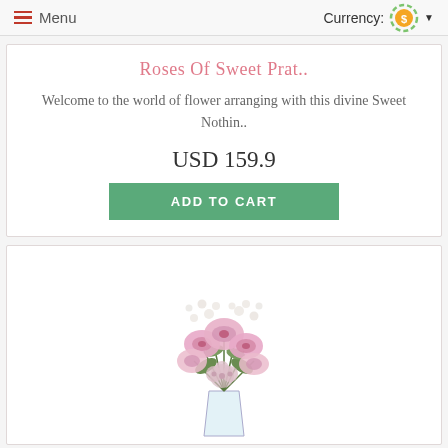Menu | Currency:
Roses Of Sweet Prat..
Welcome to the world of flower arranging with this divine Sweet Nothin..
USD 159.9
ADD TO CART
[Figure (photo): A bouquet of pink lilies and white flowers arranged in a clear vase]